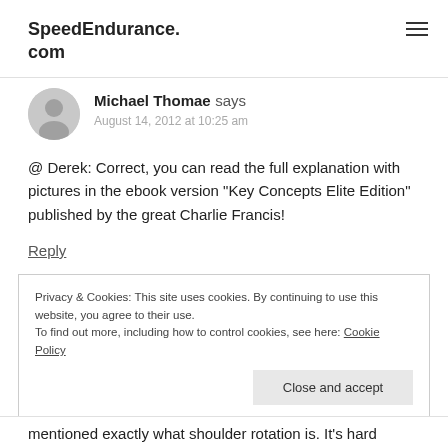SpeedEndurance.com
Michael Thomae says
August 14, 2012 at 10:25 am
@ Derek: Correct, you can read the full explanation with pictures in the ebook version “Key Concepts Elite Edition” published by the great Charlie Francis!
Reply
Privacy & Cookies: This site uses cookies. By continuing to use this website, you agree to their use.
To find out more, including how to control cookies, see here: Cookie Policy
Close and accept
mentioned exactly what shoulder rotation is. It’s hard